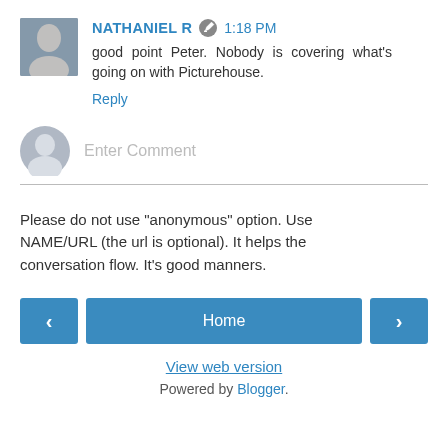NATHANIEL R  1:18 PM
good point Peter. Nobody is covering what's going on with Picturehouse.
Reply
Enter Comment
Please do not use "anonymous" option. Use NAME/URL (the url is optional). It helps the conversation flow. It's good manners.
[Figure (infographic): Navigation row with left arrow button, Home button, and right arrow button]
View web version
Powered by Blogger.